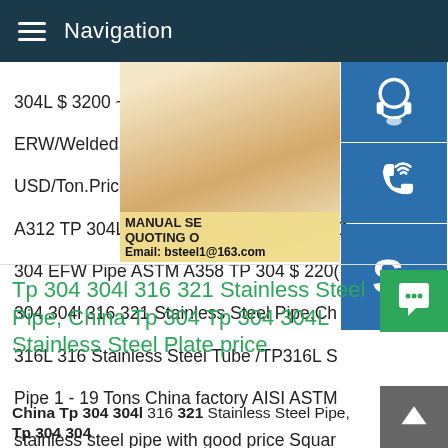Navigation
304L $ 3200 ~ $ 4500 USD/Ton.Price of S ERW/Welded Pipe ASTM A312 TP 304 $ : USD/Ton.Price of Stainless Steel 304L ER A312 TP 304L $ 2600 ~ $ 4800 USD/Ton. 304 EFW Pipe ASTM A358 TP 304 $ 2200 304 304l 316 321 Stainless Steel Pipe,Chi 316L 316 Stainless Steel Tube /TP316L S Pipe 1 - 19 Tons China factory AISI ASTM stainless steel pipe with good price Square Steel Pipe /Tube Use in building/ Industry/ 316 /410 Price Of China
Tp 304 304l 316 321 Stainless Steel Pipe, China Tp 304 Tp 304 304L Stainless Steel Plate price
China Tp 304 304l 316 321 Stainless Steel Pipe, Tp 304 304